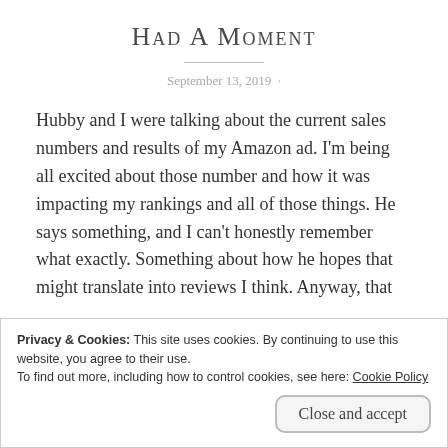Had A Moment
September 13, 2019
Hubby and I were talking about the current sales numbers and results of my Amazon ad. I'm being all excited about those number and how it was impacting my rankings and all of those things. He says something, and I can't honestly remember what exactly. Something about how he hopes that might translate into reviews I think. Anyway, that
Privacy & Cookies: This site uses cookies. By continuing to use this website, you agree to their use.
To find out more, including how to control cookies, see here: Cookie Policy
Close and accept